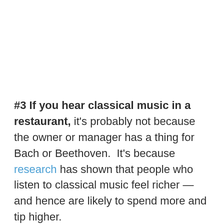#3 If you hear classical music in a restaurant, it's probably not because the owner or manager has a thing for Bach or Beethoven.  It's because research has shown that people who listen to classical music feel richer — and hence are likely to spend more and tip higher.